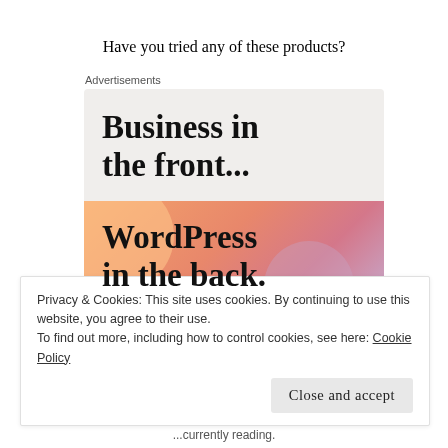Have you tried any of these products?
Advertisements
[Figure (screenshot): WordPress advertisement banner with two sections: top section on light beige/grey background with bold text 'Business in the front...', bottom section with colorful orange-pink gradient background with decorative bubbles and bold text 'WordPress in the back.']
Privacy & Cookies: This site uses cookies. By continuing to use this website, you agree to their use.
To find out more, including how to control cookies, see here: Cookie Policy
Close and accept
...currently reading.